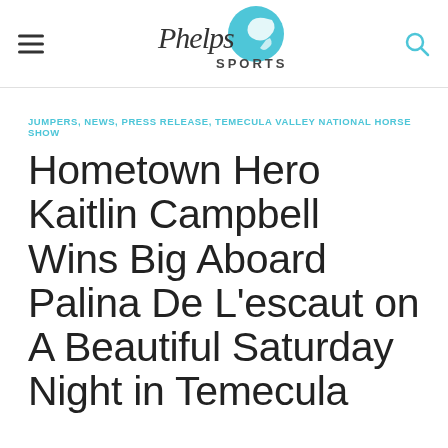Phelps Sports
JUMPERS, NEWS, PRESS RELEASE, TEMECULA VALLEY NATIONAL HORSE SHOW
Hometown Hero Kaitlin Campbell Wins Big Aboard Palina De L'escaut on A Beautiful Saturday Night in Temecula